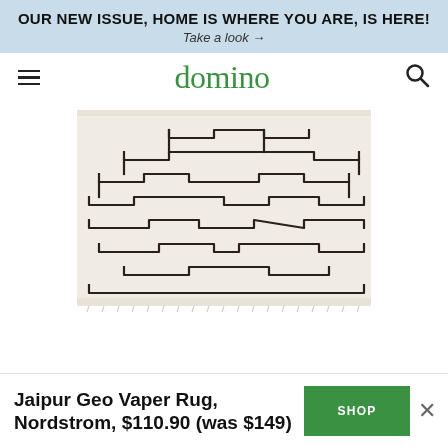OUR NEW ISSUE, HOME IS WHERE YOU ARE, IS HERE! Take a look →
domino
[Figure (photo): A cream/off-white area rug with dark geometric stepped/angular line pattern (Jaipur Geo Vaper Rug), shown flat with fringe edges]
Jaipur Geo Vaper Rug, Nordstrom, $110.90 (was $149)